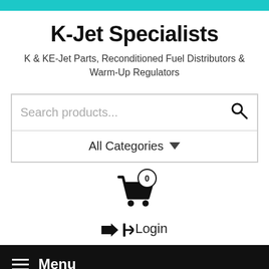K-Jet Specialists
K & KE-Jet Parts, Reconditioned Fuel Distributors & Warm-Up Regulators
[Figure (screenshot): Search products input box with magnifying glass icon]
[Figure (screenshot): All Categories dropdown selector]
[Figure (screenshot): Shopping cart icon with badge showing 0 items]
Login
Menu